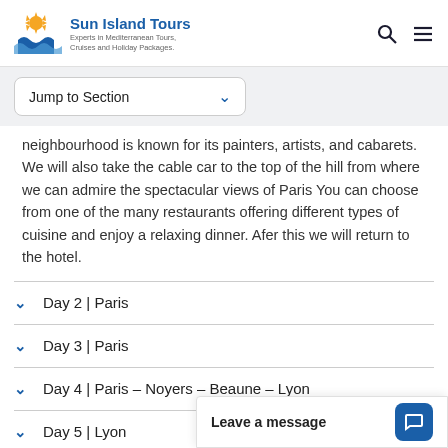Sun Island Tours — Experts in Mediterranean Tours, Cruises and Holiday Packages.
Jump to Section
neighbourhood is known for its painters, artists, and cabarets. We will also take the cable car to the top of the hill from where we can admire the spectacular views of Paris You can choose from one of the many restaurants offering different types of cuisine and enjoy a relaxing dinner. Afer this we will return to the hotel.
Day 2 | Paris
Day 3 | Paris
Day 4 | Paris – Noyers – Beaune – Lyon
Day 5 | Lyon
Leave a message